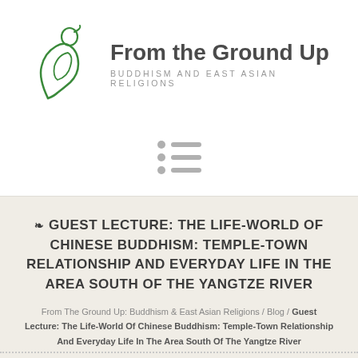[Figure (logo): Green brushstroke Buddha/lotus figure logo for From the Ground Up]
From the Ground Up
BUDDHISM AND EAST ASIAN RELIGIONS
[Figure (infographic): Hamburger menu icon with three grey horizontal lines and grey dots]
❧ GUEST LECTURE: THE LIFE-WORLD OF CHINESE BUDDHISM: TEMPLE-TOWN RELATIONSHIP AND EVERYDAY LIFE IN THE AREA SOUTH OF THE YANGTZE RIVER
From The Ground Up: Buddhism & East Asian Religions / Blog / Guest Lecture: The Life-World Of Chinese Buddhism: Temple-Town Relationship And Everyday Life In The Area South Of The Yangtze River